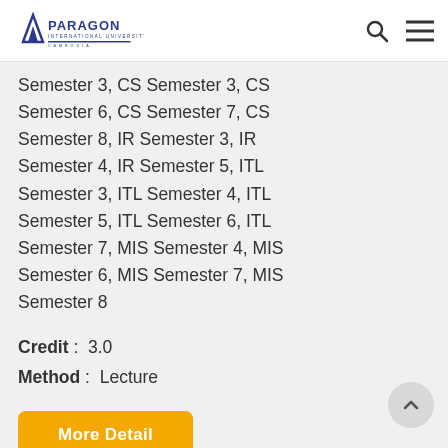Paragon International University
Semester 3, CS Semester 3, CS Semester 6, CS Semester 7, CS Semester 8, IR Semester 3, IR Semester 4, IR Semester 5, ITL Semester 3, ITL Semester 4, ITL Semester 5, ITL Semester 6, ITL Semester 7, MIS Semester 4, MIS Semester 6, MIS Semester 7, MIS Semester 8
Credit :  3.0
Method :  Lecture
More Detail